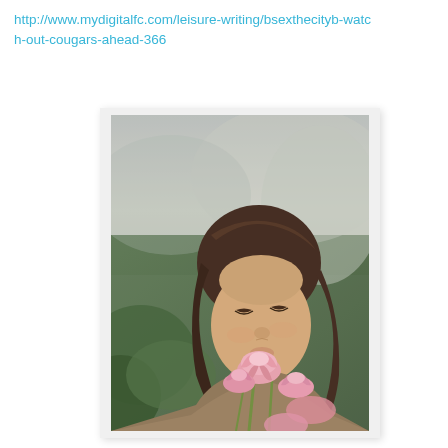http://www.mydigitalfc.com/leisure-writing/bsexthecityb-watch-out-cougars-ahead-366
[Figure (photo): A young woman with dark hair smelling pink lotus flowers, with a blurred green and grey background. Vintage/muted color tone.]